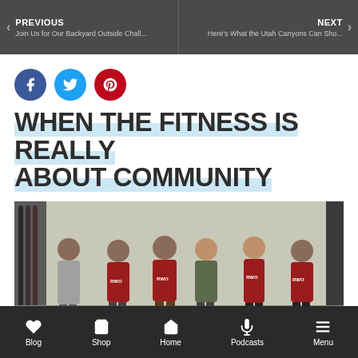PREVIOUS | Join Us for Our Backyard Outside Chall... | NEXT | Here's What the Utah Canyons Can Sho...
[Figure (infographic): Three social media share buttons: Facebook (blue circle), Twitter (light blue circle), Pinterest (red circle)]
WHEN THE FITNESS IS REALLY ABOUT COMMUNITY
[Figure (photo): Group photo of six people in a gym. Most are wearing red RWO t-shirts. They are posing together against a wall with fitness equipment visible in the background.]
Blog | Shop | Home | Podcasts | Menu